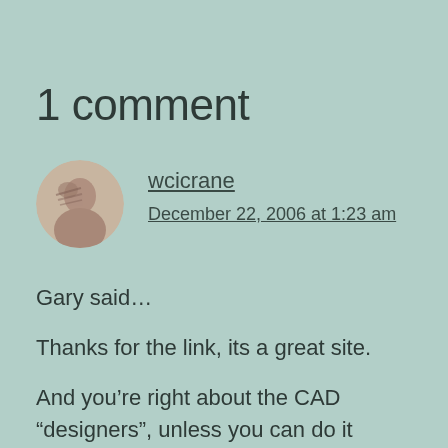1 comment
wcicrane
December 22, 2006 at 1:23 am
Gary said…
Thanks for the link, its a great site.
And you're right about the CAD “designers”, unless you can do it freehand you shouldn't be